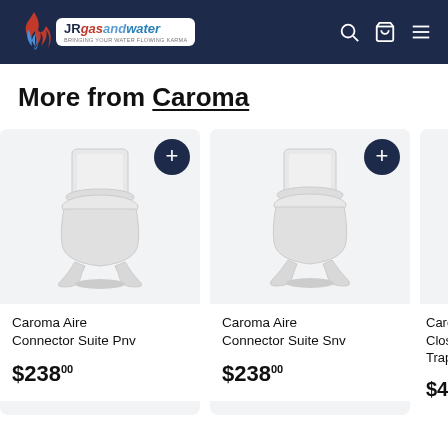[Figure (logo): JRgasandwater logo with flame icon on dark navy navigation bar with search, cart, and menu icons]
More from Caroma
[Figure (photo): White toilet suite - Caroma Aire Connector Suite Pnv]
Caroma Aire Connector Suite Pnv
$238.00
[Figure (photo): White toilet suite - Caroma Aire Connector Suite Snv]
Caroma Aire Connector Suite Snv
$238.00
[Figure (photo): Partially visible toilet - Caroma Close... Trap...]
Caro... Close... Trap...
$486...